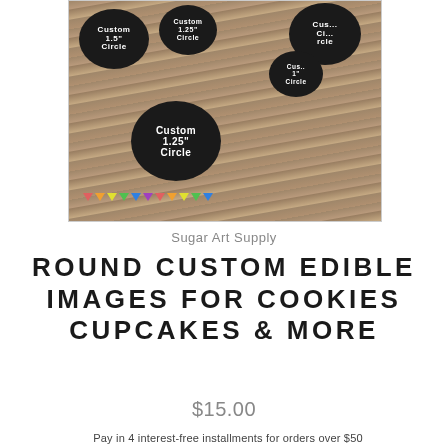[Figure (photo): Photo of multiple round black edible image discs with white text reading 'Custom 1.5" Circle' and 'Custom 1.25" Circle', arranged on a rustic wood surface with a colorful mini banner/bunting in the foreground.]
Sugar Art Supply
ROUND CUSTOM EDIBLE IMAGES FOR COOKIES CUPCAKES & MORE
$15.00
Pay in 4 interest-free installments for orders over $50